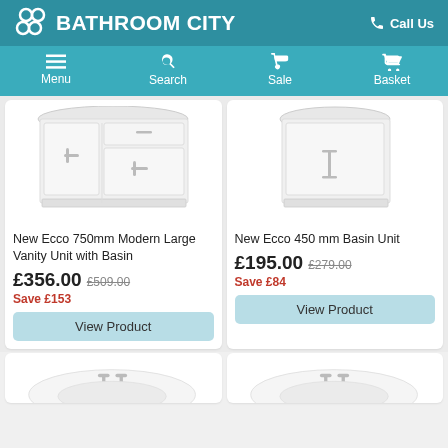BATHROOM CITY | Call Us
Menu | Search | Sale | Basket
[Figure (photo): New Ecco 750mm Modern Large Vanity Unit with Basin — white cabinet with two doors and a drawer, chrome handles]
New Ecco 750mm Modern Large Vanity Unit with Basin
£356.00  £509.00  Save £153
View Product
[Figure (photo): New Ecco 450 mm Basin Unit — white single-door cabinet with chrome handle]
New Ecco 450 mm Basin Unit
£195.00  £279.00  Save £84
View Product
[Figure (photo): Partial bottom row — left product showing white basin with chrome taps]
[Figure (photo): Partial bottom row — right product showing white basin with chrome taps]